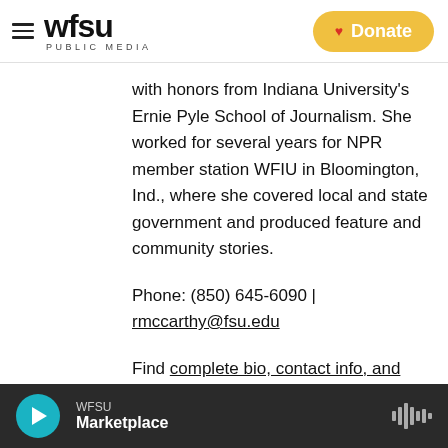[Figure (logo): WFSU Public Media logo with hamburger menu icon and a yellow Donate button with red heart]
with honors from Indiana University's Ernie Pyle School of Journalism. She worked for several years for NPR member station WFIU in Bloomington, Ind., where she covered local and state government and produced feature and community stories.
Phone: (850) 645-6090 | rmccarthy@fsu.edu
Find complete bio, contact info, and more stories here.
See stories by Regan McCarthy
WFSU Marketplace